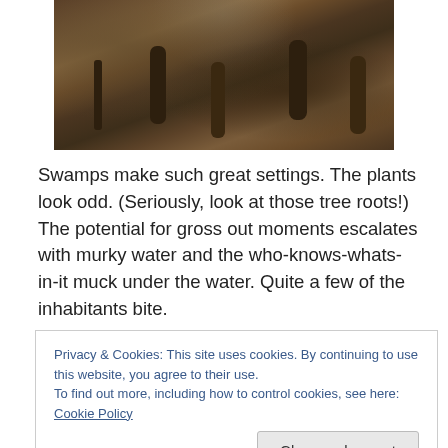[Figure (photo): Photograph of swamp ground showing tree roots, mud, and leaf litter in a forested wetland area.]
Swamps make such great settings. The plants look odd. (Seriously, look at those tree roots!) The potential for gross out moments escalates with murky water and the who-knows-whats-in-it muck under the water. Quite a few of the inhabitants bite.
You may have an idea for a great setting, such as a swamp, but you may lack a story. If this occurs, ask
Privacy & Cookies: This site uses cookies. By continuing to use this website, you agree to their use.
To find out more, including how to control cookies, see here: Cookie Policy
trying to get rid of a body. Someone may have lost a